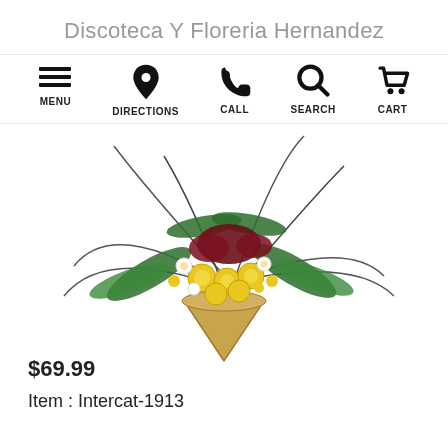Discoteca Y Floreria Hernandez
[Figure (infographic): Navigation bar with icons and labels: MENU (hamburger icon), DIRECTIONS (map pin icon), CALL (phone icon), SEARCH (magnifying glass icon), CART (shopping cart icon)]
[Figure (photo): A floral arrangement in a cone-shaped wicker/bamboo vase containing yellow roses, white flowers, dark red/maroon flowers, and green fern-like foliage with long wispy grass blades spreading outward.]
$69.99
Item : Intercat-1913